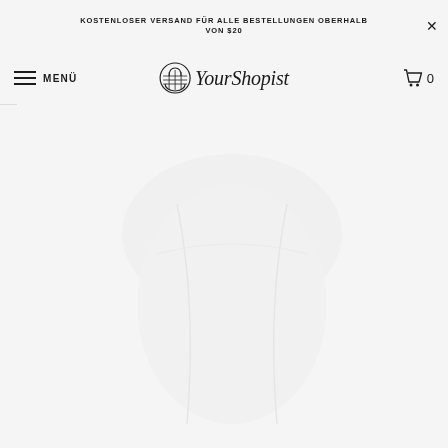KOSTENLOSER VERSAND FÜR ALLE BESTELLUNGEN OBERHALB VON $20
MENÜ | YourShopist | 0
[Figure (photo): Product photo showing a white or very light colored garment/item against a white background]